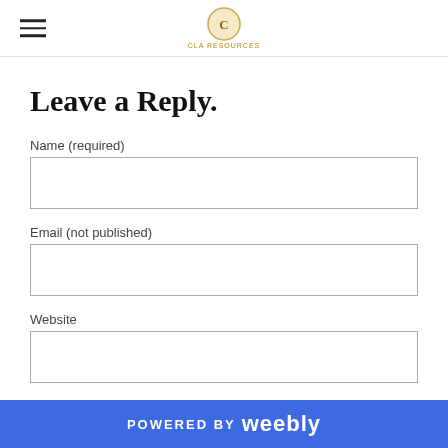CLA Resources logo and hamburger menu
Leave a Reply.
Name (required)
Email (not published)
Website
Comments (required)
POWERED BY weebly